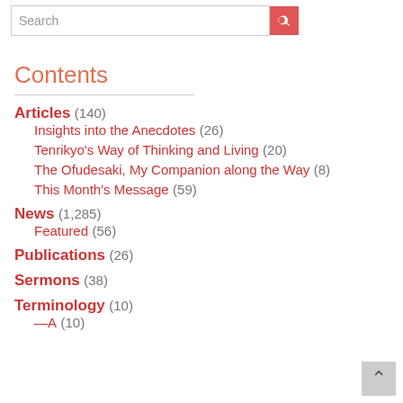Search
Contents
Articles (140)
Insights into the Anecdotes (26)
Tenrikyo's Way of Thinking and Living (20)
The Ofudesaki, My Companion along the Way (8)
This Month's Message (59)
News (1,285)
Featured (56)
Publications (26)
Sermons (38)
Terminology (10)
—A (10)